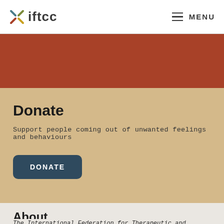iftcc MENU
[Figure (other): Rust/terracotta colored band across the full width]
Donate
Support people coming out of unwanted feelings and behaviours
DONATE
About
The International Federation for Therapeutic and Counselling Choice (IFTCC) is a multi-disciplinary